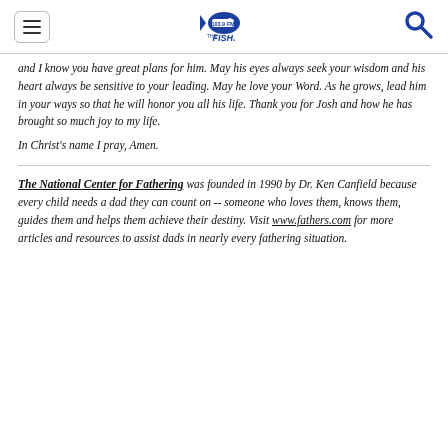103.9 FM The Fish — navigation header
and I know you have great plans for him. May his eyes always seek your wisdom and his heart always be sensitive to your leading. May he love your Word. As he grows, lead him in your ways so that he will honor you all his life. Thank you for Josh and how he has brought so much joy to my life.
In Christ's name I pray, Amen.
The National Center for Fathering was founded in 1990 by Dr. Ken Canfield because every child needs a dad they can count on -- someone who loves them, knows them, guides them and helps them achieve their destiny. Visit www.fathers.com for more articles and resources to assist dads in nearly every fathering situation.